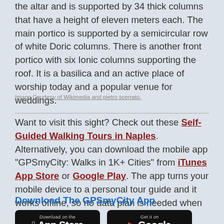the altar and is supported by 34 thick columns that have a height of eleven meters each. The main portico is supported by a semicircular row of white Doric columns. There is another front portico with six Ionic columns supporting the roof. It is a basilica and an active place of worship today and a popular venue for weddings.
Image Courtesy of Wikimedia and pietro scerrato.
Want to visit this sight? Check out these Self-Guided Walking Tours in Naples. Alternatively, you can download the mobile app "GPSmyCity: Walks in 1K+ Cities" from iTunes App Store or Google Play. The app turns your mobile device to a personal tour guide and it works offline, so no data plan is needed when traveling abroad.
Download The GPSmyCity App
[Figure (screenshot): Two app store download buttons: 'Download on the App Store' (Apple) and 'Get it on Google Play']